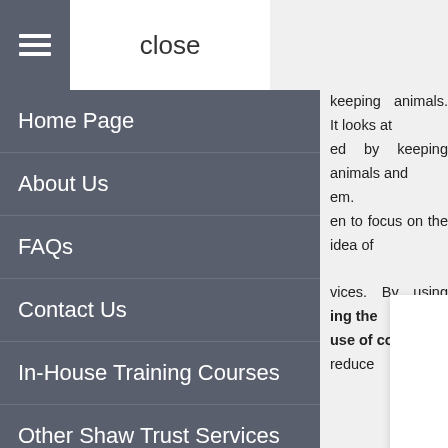[Figure (screenshot): Website navigation menu overlay showing hamburger icon, close button, and menu items: Home Page, About Us, FAQs, Contact Us, In-House Training Courses, Other Shaw Trust Services. Background shows partially visible article text and a cookie consent popup.]
Home Page
About Us
FAQs
Contact Us
In-House Training Courses
Other Shaw Trust Services
keeping animals. It looks at ed by keeping animals and em.
en to focus on the idea of
vices. By using ing the use of cookies.
reduce
ople in are still em. sses issues around home e Smith family are building endly but warm and cosy in en help research the best